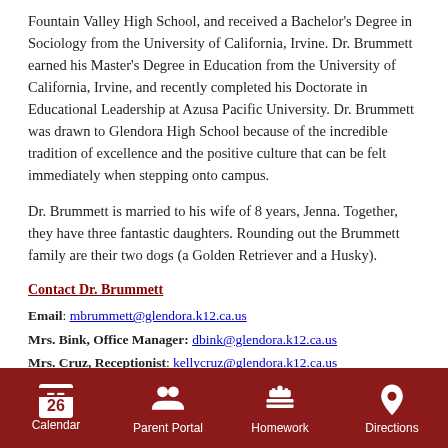Fountain Valley High School, and received a Bachelor's Degree in Sociology from the University of California, Irvine. Dr. Brummett earned his Master's Degree in Education from the University of California, Irvine, and recently completed his Doctorate in Educational Leadership at Azusa Pacific University. Dr. Brummett was drawn to Glendora High School because of the incredible tradition of excellence and the positive culture that can be felt immediately when stepping onto campus.
Dr. Brummett is married to his wife of 8 years, Jenna. Together, they have three fantastic daughters. Rounding out the Brummett family are their two dogs (a Golden Retriever and a Husky).
Contact Dr. Brummett
Email: mbrummett@glendora.k12.ca.us
Mrs. Bink, Office Manager: dbink@glendora.k12.ca.us
Mrs. Cruz, Receptionist: kellycruz@glendora.k12.ca.us
Calendar | Parent Portal | Homework | Directions